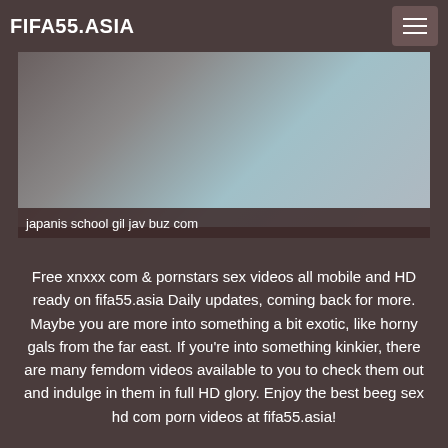FIFA55.ASIA
[Figure (photo): Two people lying down, blurred/cropped view with blue and white clothing]
japanis school gil jav buz com
Free xnxxx com & pornstars sex videos all mobile and HD ready on fifa55.asia Daily updates, coming back for more. Maybe you are more into something a bit exotic, like horny gals from the far east. If you're into something kinkier, there are many femdom videos available to you to check them out and indulge in them in full HD glory. Enjoy the best beeg sex hd com porn videos at fifa55.asia!